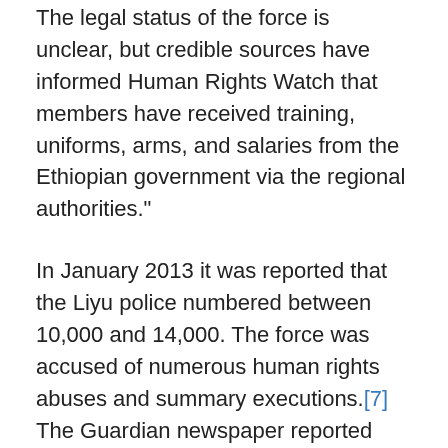The legal status of the force is unclear, but credible sources have informed Human Rights Watch that members have received training, uniforms, arms, and salaries from the Ethiopian government via the regional authorities."
In January 2013 it was reported that the Liyu police numbered between 10,000 and 14,000. The force was accused of numerous human rights abuses and summary executions.[7] The Guardian newspaper reported that it had seen an internal British government document, from the Department for International Development, indicating that there were plans to spend £13m–15m of aid money on the force as part of a five year “peace-building” programme. The report was denied by the British government, which